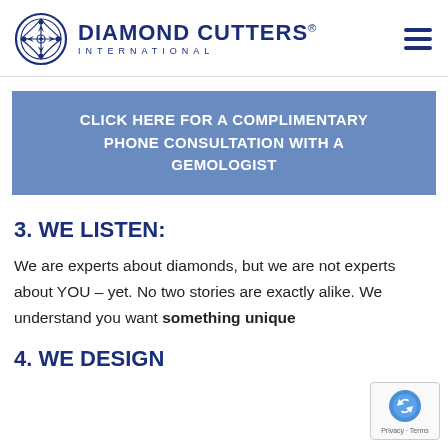[Figure (logo): Diamond Cutters International logo with ornate circular emblem and text]
CLICK HERE FOR A COMPLIMENTARY PHONE CONSULTATION WITH A GEMOLOGIST
3. WE LISTEN:
We are experts about diamonds, but we are not experts about YOU – yet. No two stories are exactly alike. We understand you want something unique
4. WE DESIGN